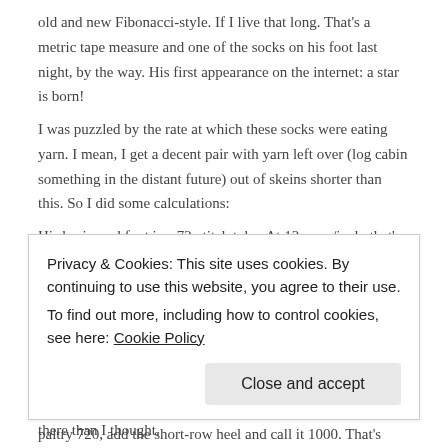old and new Fibonacci-style. If I live that long. That's a metric tape measure and one of the socks on his foot last night, by the way. His first appearance on the internet: a star is born!
I was puzzled by the rate at which these socks were eating yarn. I mean, I get a decent pair with yarn left over (log cabin something in the distant future) out of skeins shorter than this. So I did some calculations:
His basic sockfoot is a 72-stitch tube. At 12 rows/inch, that's 864 stitches/inch. I did about 8" of that, which is 6912 stitches. Each gusset builds over 4" to shakes head in disbelief 24 stitches. So at this stage (the heel starts when I go back downstairs) the tube is 120 stitches. A fair guessimate of stitch numbers would be half the gusset stitches over the length, which is … 4608 stitches. So that's 11500 stitches in the foot. Stitches in the heelflap? It'll be about 30x12x2, a paltry 720, add the short-row heel and call it 1000. That's 12,500 stitches plus the leg … 72x12x7ich, call it
Privacy & Cookies: This site uses cookies. By continuing to use this website, you agree to their use.
To find out more, including how to control cookies, see here: Cookie Policy
there than I thought.